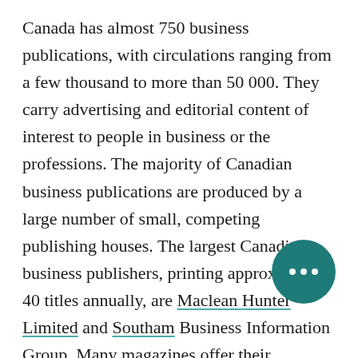Canada has almost 750 business publications, with circulations ranging from a few thousand to more than 50 000. They carry advertising and editorial content of interest to people in business or the professions. The majority of Canadian business publications are produced by a large number of small, competing publishing houses. The largest Canadian business publishers, printing approximately 40 titles annually, are Maclean Hunter Limited and Southam Business Information Group. Many magazines offer their advertisers other services and activities, such as trade shows and seminars. Revenues increased from [obscured] million in 1975 to $170 million in 1994.